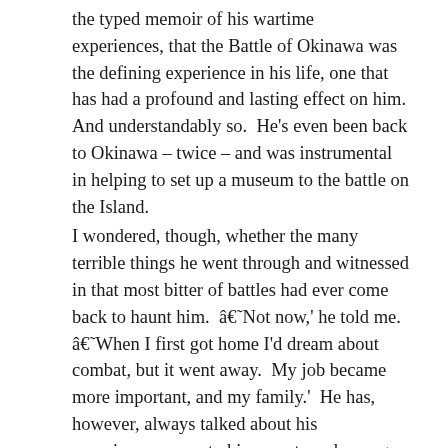the typed memoir of his wartime experiences, that the Battle of Okinawa was the defining experience in his life, one that has had a profound and lasting effect on him. And understandably so. He's even been back to Okinawa – twice – and was instrumental in helping to set up a museum to the battle on the Island. I wondered, though, whether the many terrible things he went through and witnessed in that most bitter of battles had ever come back to haunt him. â€˜Not now,' he told me. â€˜When I first got home I'd dream about combat, but it went away. My job became more important, and my family.' He has, however, always talked about his experiences, even to his parents and younger brother when he got back home. â€˜I've always been open about what I went through,' he told me. â€˜Those guys that bottle it all up are the ones who struggle later.' He was, he admits, very lucky to have survived Okinawa, but has made the most of the experience and has lived a full and happy life. Bill is one man at peace with the legacy of the war; despite all that happened, there are no ghosts